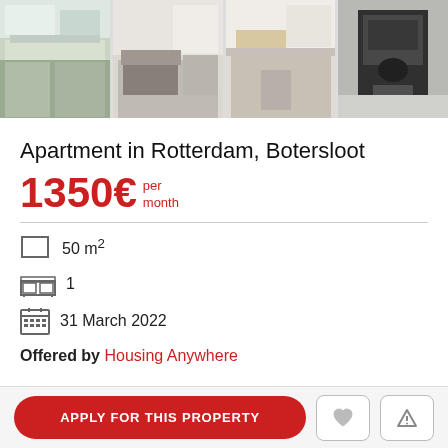[Figure (photo): Four apartment interior photos showing kitchen, living room, desk area, and coffee machine]
Apartment in Rotterdam, Botersloot
1350€ per month
50 m²
1
31 March 2022
Offered by Housing Anywhere
APPLY FOR THIS PROPERTY